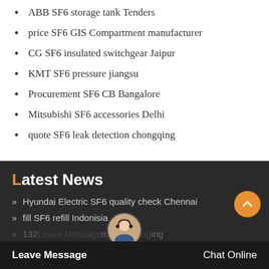ABB SF6 storage tank Tenders
price SF6 GIS Compartment manufacturer
CG SF6 insulated switchgear Jaipur
KMT SF6 pressure jiangsu
Procurement SF6 CB Bangalore
Mitsubishi SF6 accessories Delhi
quote SF6 leak detection chongqing
Latest News
Hyundai Electric SF6 quality check Chennai
fill SF6 refill Indonisia
1320 SF6 meter chongqing